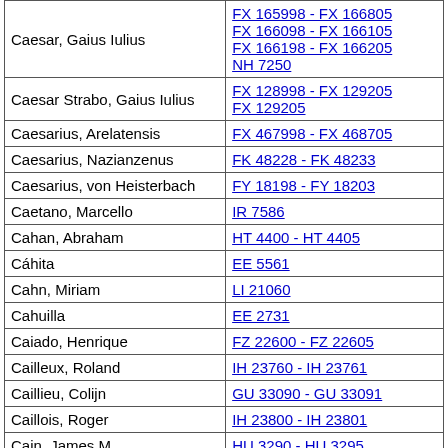| Name | Call Numbers |
| --- | --- |
| Caesar, Gaius Iulius | FX 165998 - FX 166805
FX 166098 - FX 166105
FX 166198 - FX 166205
NH 7250 |
| Caesar Strabo, Gaius Iulius | FX 128998 - FX 129205
FX 129205 |
| Caesarius, Arelatensis | FX 467998 - FX 468705 |
| Caesarius, Nazianzenus | FK 48228 - FK 48233 |
| Caesarius, von Heisterbach | FY 18198 - FY 18203 |
| Caetano, Marcello | IR 7586 |
| Cahan, Abraham | HT 4400 - HT 4405 |
| Cáhita | EE 5561 |
| Cahn, Miriam | LI 21060 |
| Cahuilla | EE 2731 |
| Caiado, Henrique | FZ 22600 - FZ 22605 |
| Cailleux, Roland | IH 23760 - IH 23761 |
| Caillieu, Colijn | GU 33090 - GU 33091 |
| Caillois, Roger | IH 23800 - IH 23801 |
| Cain, James M. | HU 3290 - HU 3295 |
| Caine, Hall | HL 2300 - HL 2305 |
| Čajda, Ján | KU 7770 - KU 7771 |